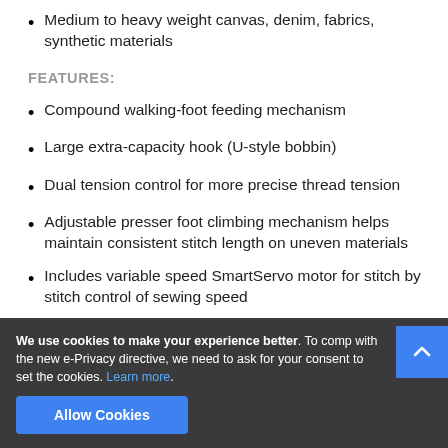Medium to heavy weight canvas, denim, fabrics, synthetic materials
FEATURES:
Compound walking-foot feeding mechanism
Large extra-capacity hook (U-style bobbin)
Dual tension control for more precise thread tension
Adjustable presser foot climbing mechanism helps maintain consistent stitch length on uneven materials
Includes variable speed SmartServo motor for stitch by stitch control of sewing speed
Drop-in bobbin system for easy access to the bobbin
We use cookies to make your experience better. To comply with the new e-Privacy directive, we need to ask for your consent to set the cookies. Learn more.
Allow Cookies